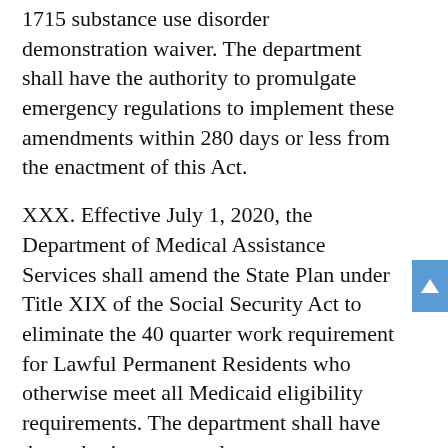1715 substance use disorder demonstration waiver. The department shall have the authority to promulgate emergency regulations to implement these amendments within 280 days or less from the enactment of this Act.
XXX. Effective July 1, 2020, the Department of Medical Assistance Services shall amend the State Plan under Title XIX of the Social Security Act to eliminate the 40 quarter work requirement for Lawful Permanent Residents who otherwise meet all Medicaid eligibility requirements. The department shall have the authority to promulgate emergency regulations to implement this amendment within 280 days or less from the enactment of this Act.
YYY.1. The Department of Medical Assistance Services (DMAS) shall have the authority to implement programmatic changes to service definitions and reimbursement billing in...